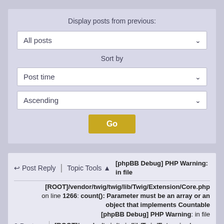Display posts from previous:
All posts
Sort by
Post time
Ascending
Go
Post Reply | Topic Tools ▲ [phpBB Debug] PHP Warning: in file [ROOT]/vendor/twig/twig/lib/Twig/Extension/Core.php on line 1266: count(): Parameter must be an array or an object that implements Countable [phpBB Debug] PHP Warning: in file [ROOT]/vendor/twig/twig/lib/Twig/Extension/ Core.php on line 1266: count(): Parameter must be an array or an object that implements Countable
2 Posts